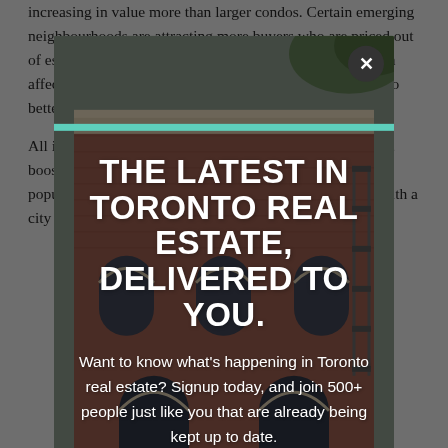increasing in value more than larger condos. Certain emerging neighbourhoods are attracting more buyers who are priced out of established neighbourhoods. Transit, or lack thereof, can affect whether a newly built, well-maintained condo will do better.
All in all, the Toronto real estate boom is still in full swing, boosted by good economic fundamentals and steady population growth, keeping a supply/demand imbalance with a city that is already a bustling urban core.
[Figure (photo): Modal popup overlay showing a brick heritage building in Toronto with arched windows. Contains large bold white text headline and descriptive subtext on a dark semi-transparent background.]
THE LATEST IN TORONTO REAL ESTATE, DELIVERED TO YOU.
Want to know what's happening in Toronto real estate? Signup today, and join 500+ people just like you that are already being kept up to date.